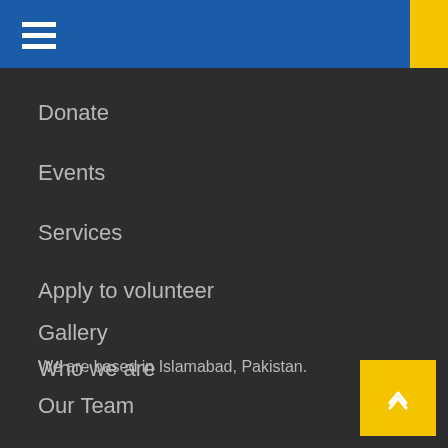Navigation menu header bar with hamburger icon
Donate
Events
Services
Apply to volunteer
Gallery
Who we are
Our Team
We are based in Islamabad, Pakistan.